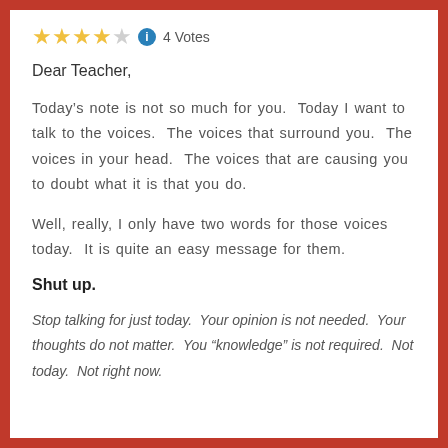[Figure (other): Star rating: 3.5 out of 5 stars with info icon and '4 Votes' label]
Dear Teacher,
Today’s note is not so much for you.  Today I want to talk to the voices.  The voices that surround you.  The voices in your head.  The voices that are causing you to doubt what it is that you do.
Well, really, I only have two words for those voices today.  It is quite an easy message for them.
Shut up.
Stop talking for just today.  Your opinion is not needed.  Your thoughts do not matter.  You “knowledge” is not required.  Not today.  Not right now.